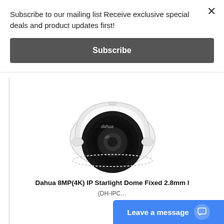Subscribe to our mailing list Receive exclusive special deals and product updates first!
Subscribe
[Figure (photo): Dahua white dome IP security camera with black lens, front view, Dahua logo visible on housing]
Dahua 8MP(4K) IP Starlight Dome Fixed 2.8mm l
(DH-IPC...
Leave a message